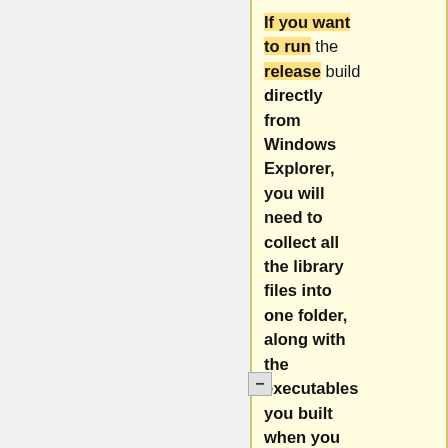If you want to run the release build directly from Windows Explorer, you will need to collect all the library files into one folder, along with the executables you built when you compiled Mumble. Have a look at the files the official
Start the build